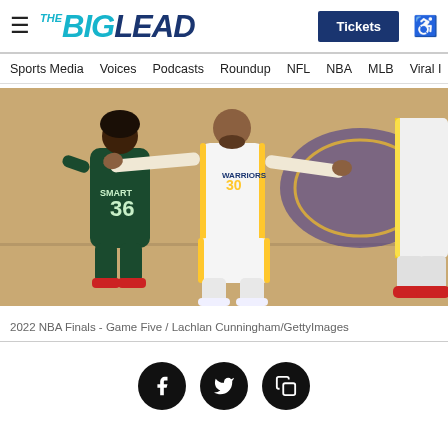THE BIG LEAD — Tickets
Sports Media   Voices   Podcasts   Roundup   NFL   NBA   MLB   Viral I...
[Figure (photo): Basketball court photo showing Stephen Curry (#30, Golden State Warriors, white uniform) with arms spread wide, and Marcus Smart (#36, Boston Celtics, dark green uniform) in the foreground. 2022 NBA Finals Game Five.]
2022 NBA Finals - Game Five / Lachlan Cunningham/GettyImages
[Figure (other): Social sharing icons row: Facebook (f), Twitter (bird), and a copy/share icon, each in a black circle button.]